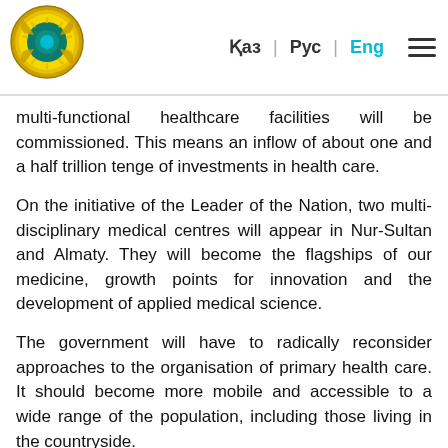Қаз | Рус | Eng [navigation]
multi-functional healthcare facilities will be commissioned. This means an inflow of about one and a half trillion tenge of investments in health care.
On the initiative of the Leader of the Nation, two multi-disciplinary medical centres will appear in Nur-Sultan and Almaty. They will become the flagships of our medicine, growth points for innovation and the development of applied medical science.
The government will have to radically reconsider approaches to the organisation of primary health care. It should become more mobile and accessible to a wide range of the population, including those living in the countryside.
Measures should be taken to revive the